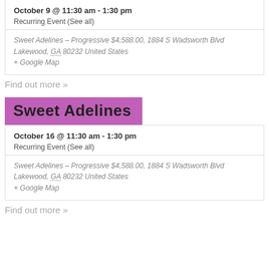October 9 @ 11:30 am - 1:30 pm
Recurring Event (See all)
Sweet Adelines – Progressive $4,588.00, 1884 S Wadsworth Blvd
Lakewood, GA 80232 United States
+ Google Map
Find out more »
Sweet Adelines
October 16 @ 11:30 am - 1:30 pm
Recurring Event (See all)
Sweet Adelines – Progressive $4,588.00, 1884 S Wadsworth Blvd
Lakewood, GA 80232 United States
+ Google Map
Find out more »